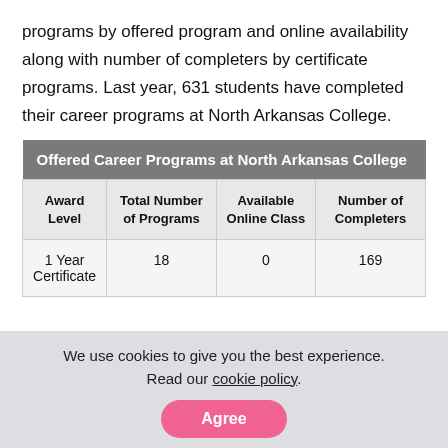programs by offered program and online availability along with number of completers by certificate programs. Last year, 631 students have completed their career programs at North Arkansas College.
| Offered Career Programs at North Arkansas College |
| --- |
| Award Level | Total Number of Programs | Available Online Class | Number of Completers |
| 1 Year Certificate | 18 | 0 | 169 |
We use cookies to give you the best experience. Read our cookie policy.